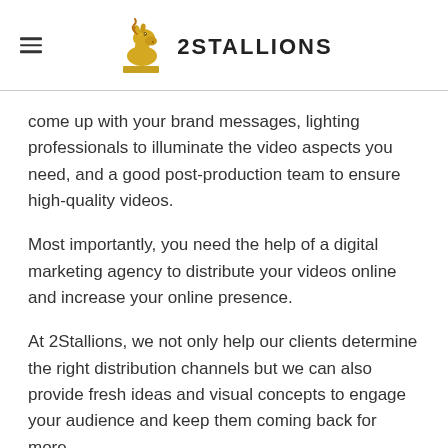2Stallions
come up with your brand messages, lighting professionals to illuminate the video aspects you need, and a good post-production team to ensure high-quality videos.
Most importantly, you need the help of a digital marketing agency to distribute your videos online and increase your online presence.
At 2Stallions, we not only help our clients determine the right distribution channels but we can also provide fresh ideas and visual concepts to engage your audience and keep them coming back for more.